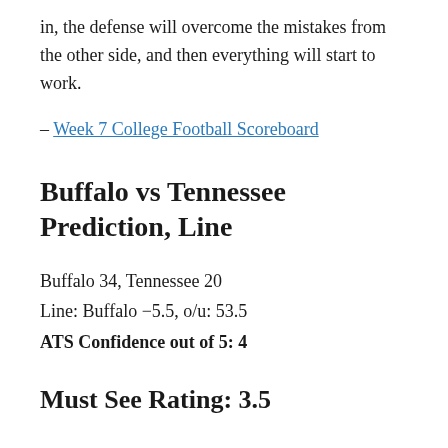in, the defense will overcome the mistakes from the other side, and then everything will start to work.
– Week 7 College Football Scoreboard
Buffalo vs Tennessee Prediction, Line
Buffalo 34, Tennessee 20
Line: Buffalo −5.5, o/u: 53.5
ATS Confidence out of 5: 4
Must See Rating: 3.5